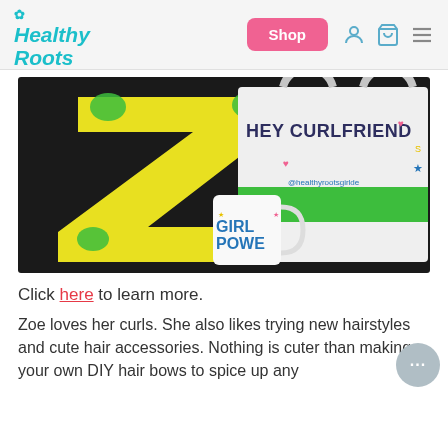Healthy Roots — Shop | navigation icons
[Figure (photo): Photo of Healthy Roots merchandise: a tote bag reading 'HEY CURLFRIEND' with @healthyrootsgirlde, a mug reading 'GIRL POWER', and a yellow letter Z decorated with green paint, all on a dark background.]
Click here to learn more.
Zoe loves her curls. She also likes trying new hairstyles and cute hair accessories. Nothing is cuter than making your own DIY hair bows to spice up any